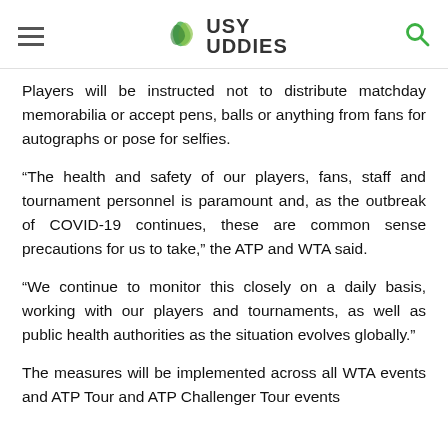Busy Buddies
Players will be instructed not to distribute matchday memorabilia or accept pens, balls or anything from fans for autographs or pose for selfies.
“The health and safety of our players, fans, staff and tournament personnel is paramount and, as the outbreak of COVID-19 continues, these are common sense precautions for us to take,” the ATP and WTA said.
“We continue to monitor this closely on a daily basis, working with our players and tournaments, as well as public health authorities as the situation evolves globally.”
The measures will be implemented across all WTA events and ATP Tour and ATP Challenger Tour events